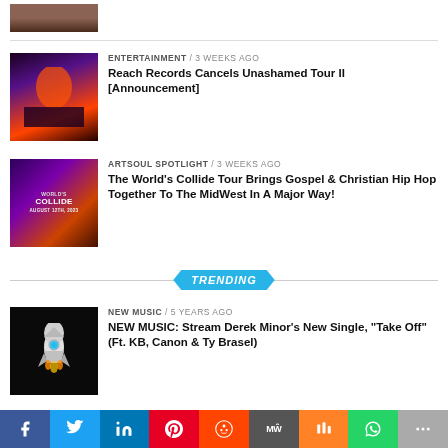[Figure (photo): Partial image of a person, cropped at top]
ENTERTAINMENT / 3 weeks ago
Reach Records Cancels Unashamed Tour II [Announcement]
[Figure (photo): World's Collide tour concert poster with purple and orange lighting]
ARTSOUL SPOTLIGHT / 3 weeks ago
The World’s Collide Tour Brings Gospel & Christian Hip Hop Together To The MidWest In A Major Way!
TRENDING
[Figure (photo): Rocket ship illustration on black background]
NEW MUSIC / 5 years ago
NEW MUSIC: Stream Derek Minor’s New Single, “Take Off” (Ft. KB, Canon & Ty Brasel)
[Figure (photo): Person photo partially visible]
NEW MUSIC / 2 years ago